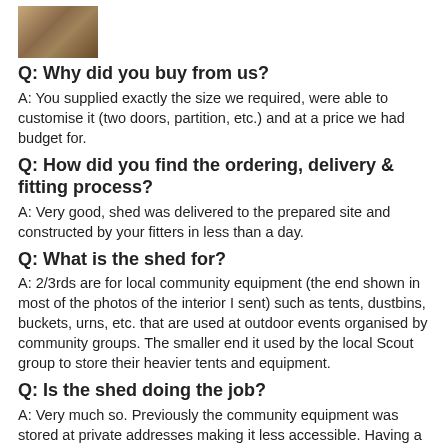[Figure (photo): Small thumbnail photo of a person outdoors]
Q: Why did you buy from us?
A: You supplied exactly the size we required, were able to customise it (two doors, partition, etc.) and at a price we had budget for.
Q: How did you find the ordering, delivery & fitting process?
A: Very good, shed was delivered to the prepared site and constructed by your fitters in less than a day.
Q: What is the shed for?
A: 2/3rds are for local community equipment (the end shown in most of the photos of the interior I sent) such as tents, dustbins, buckets, urns, etc. that are used at outdoor events organised by community groups. The smaller end it used by the local Scout group to store their heavier tents and equipment.
Q: Is the shed doing the job?
A: Very much so. Previously the community equipment was stored at private addresses making it less accessible. Having a centralised store was something that had been a requirement for some years.